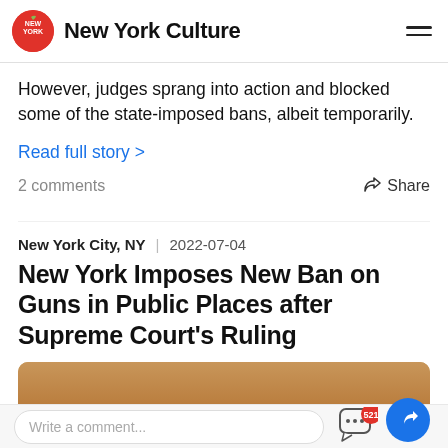New York Culture
However, judges sprang into action and blocked some of the state-imposed bans, albeit temporarily.
Read full story >
2 comments
Share
New York City, NY  |  2022-07-04
New York Imposes New Ban on Guns in Public Places after Supreme Court's Ruling
[Figure (photo): Photo of ammunition bullets and a gun on a wooden surface]
Write a comment...